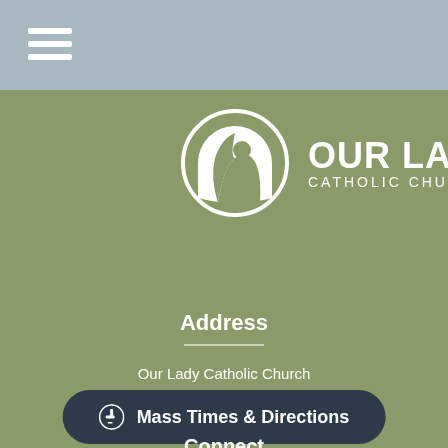[Figure (logo): Our Lady Catholic Church logo: circular icon with silhouette of the Virgin Mary in white on olive-green background, with text OUR LADY CATHOLIC CHURCH to the right]
Address
Our Lady Catholic Church
777 Heavenly Road
Austin, TX
Mass Times & Directions
Connect